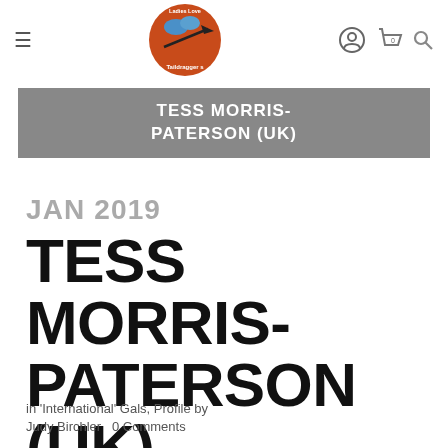≡  Ladies Love Taildrагgers [logo]  [user icon]  [cart 0]  [search]
TESS MORRIS-PATERSON (UK)
JAN 2019
TESS MORRIS-PATERSON (UK)
in 'International' Gals, Profile by Judy Birchler  0 Comments